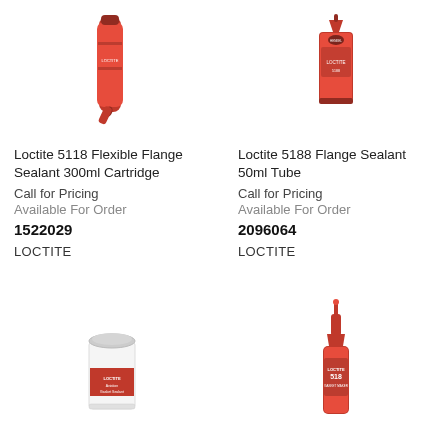[Figure (photo): Loctite 5118 Flexible Flange Sealant 300ml Cartridge - red cartridge tube product photo]
[Figure (photo): Loctite 5188 Flange Sealant 50ml Tube - red squeeze tube product photo]
Loctite 5118 Flexible Flange Sealant 300ml Cartridge
Call for Pricing
Available For Order
1522029
LOCTITE
Loctite 5188 Flange Sealant 50ml Tube
Call for Pricing
Available For Order
2096064
LOCTITE
[Figure (photo): Loctite Gasket Sealant - white round can/tin product photo]
[Figure (photo): Loctite 518 - red bottle with nozzle product photo]